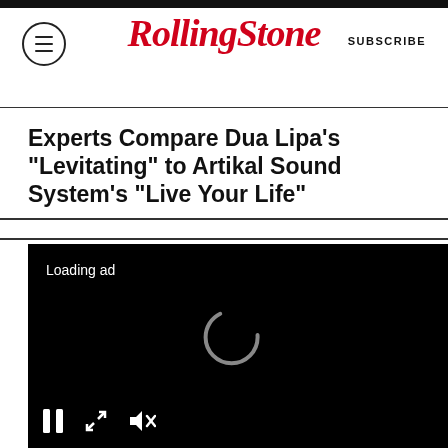RollingStone | SUBSCRIBE
Experts Compare Dua Lipa's "Levitating" to Artikal Sound System's "Live Your Life"
[Figure (screenshot): Video player with black background showing loading ad spinner, pause button, fullscreen button, and mute button. A yellow LIMITED-TIME DEAL banner at the bottom.]